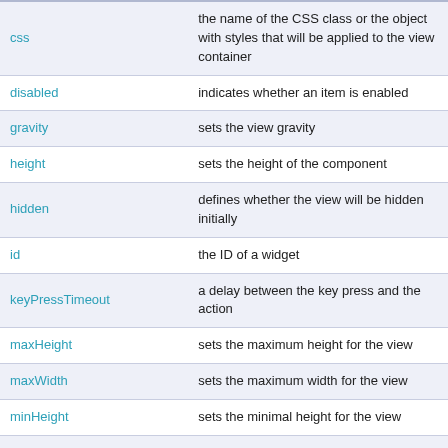| Property | Description |
| --- | --- |
| css | the name of the CSS class or the object with styles that will be applied to the view container |
| disabled | indicates whether an item is enabled |
| gravity | sets the view gravity |
| height | sets the height of the component |
| hidden | defines whether the view will be hidden initially |
| id | the ID of a widget |
| keyPressTimeout | a delay between the key press and the action |
| maxHeight | sets the maximum height for the view |
| maxWidth | sets the maximum width for the view |
| minHeight | sets the minimal height for the view |
| minWidth | sets the minimal width for the view |
| navigation | defines navigation parameters |